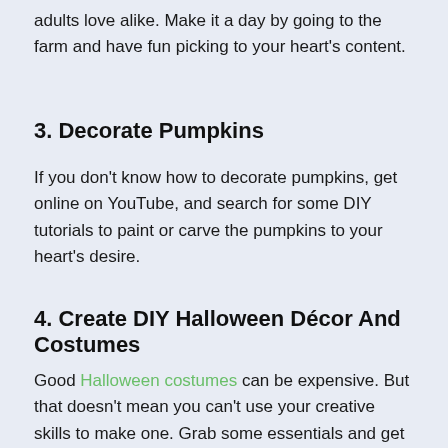adults love alike. Make it a day by going to the farm and have fun picking to your heart's content.
3. Decorate Pumpkins
If you don't know how to decorate pumpkins, get online on YouTube, and search for some DIY tutorials to paint or carve the pumpkins to your heart's desire.
4. Create DIY Halloween Décor And Costumes
Good Halloween costumes can be expensive. But that doesn't mean you can't use your creative skills to make one. Grab some essentials and get started.